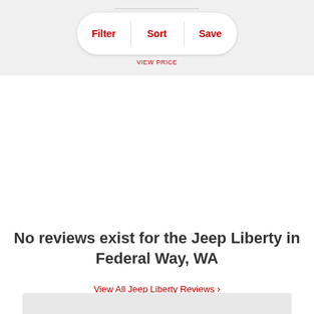[Figure (screenshot): Filter, Sort, Save pill button UI element on a gray background with a 'View Price' link below]
No reviews exist for the Jeep Liberty in Federal Way, WA
View All Jeep Liberty Reviews >